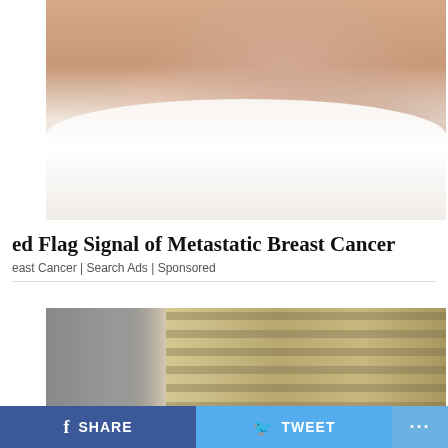[Figure (photo): Close-up photo of a woman in a white tank top holding her chest/breast area with both hands, suggesting a medical self-examination context]
ed Flag Signal of Metastatic Breast Cancer
east Cancer | Search Ads | Sponsored
[Figure (photo): Photo showing stacks of US dollar bills/money with a man in white shirt visible on the left side]
SHARE   TWEET   ...